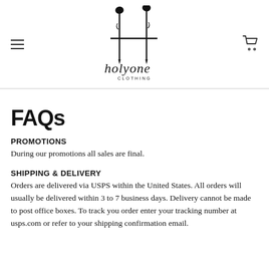[Figure (logo): HolyOne Clothing logo — stylized H made from nails/crosses with cursive 'holyone CLOTHING' text below]
FAQs
PROMOTIONS
During our promotions all sales are final.
SHIPPING & DELIVERY
Orders are delivered via USPS within the United States. All orders will usually be delivered within 3 to 7 business days. Delivery cannot be made to post office boxes. To track you order enter your tracking number at usps.com or refer to your shipping confirmation email.